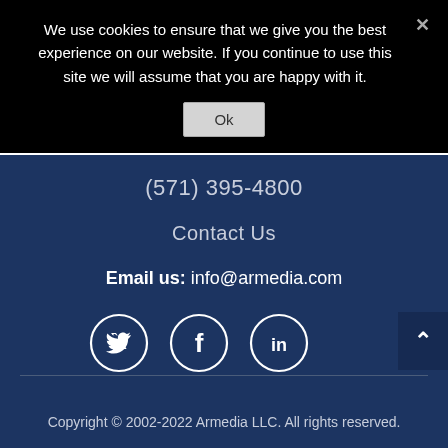We use cookies to ensure that we give you the best experience on our website. If you continue to use this site we will assume that you are happy with it.
Ok
(571) 395-4800
Contact Us
Email us: info@armedia.com
[Figure (illustration): Three social media icons in white circles on dark blue background: Twitter bird icon, Facebook 'f' icon, LinkedIn 'in' icon]
Copyright © 2002-2022 Armedia LLC. All rights reserved.